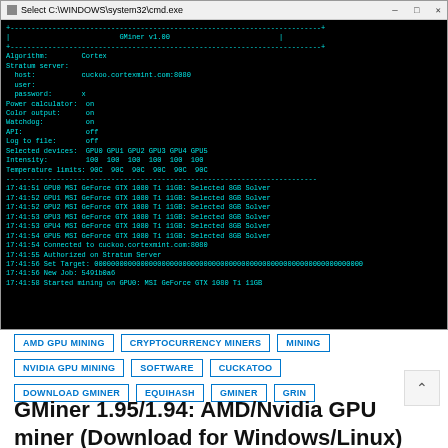[Figure (screenshot): Windows command prompt showing GMiner v1.00 cryptocurrency miner running with Cortex algorithm on cuckoo.cortexmint.com:8080, displaying 6 MSI GeForce GTX 1080 Ti 11GB GPUs selected, connected to stratum server, authorized, and started mining.]
AMD GPU MINING
CRYPTOCURRENCY MINERS
MINING
NVIDIA GPU MINING
SOFTWARE
CUCKATOO
DOWNLOAD GMINER
EQUIHASH
GMINER
GRIN
GMiner 1.95/1.94: AMD/Nvidia GPU miner (Download for Windows/Linux)